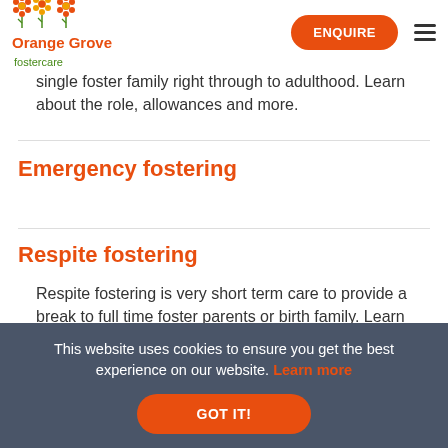Orange Grove fostercare | ENQUIRE
single foster family right through to adulthood. Learn about the role, allowances and more.
Emergency fostering
Respite fostering
Respite fostering is very short term care to provide a break to full time foster parents or birth family. Learn more about the role, allowances and more.
This website uses cookies to ensure you get the best experience on our website. Learn more
GOT IT!